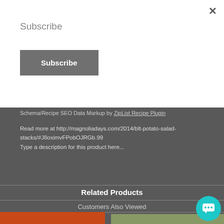Subscribe
Subscribe (button)
Schema/Recipe SEO Data Markup by ZipList Recipe Plugin
Read more at http://magnoliadays.com/2014/blt-potato-salad-stacks/#J8oximvFPobOJRGb.99
Type a description for this product here...
Related Products
Customers Also Viewed
[Figure (photo): Product image left - orange/red background food photo]
[Figure (photo): Product image right - green/light background food photo]
[Figure (other): Chat bubble icon in teal/cyan circle with speech bubble icon]